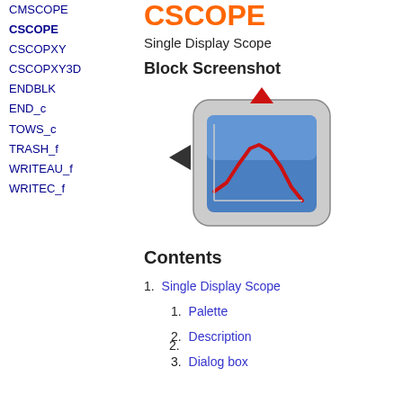CMSCOPE
CSCOPE
CSCOPXY
CSCOPXY3D
ENDBLK
END_c
TOWS_c
TRASH_f
WRITEAU_f
WRITEC_f
CSCOPE
Single Display Scope
Block Screenshot
[Figure (screenshot): Block screenshot of CSCOPE showing a scope block icon with a red curve on a blue background, a red downward triangle at the top, and a black right-pointing arrow on the left as input connector.]
Contents
1. Single Display Scope
2.   1. Palette
2. Description
3. Dialog box